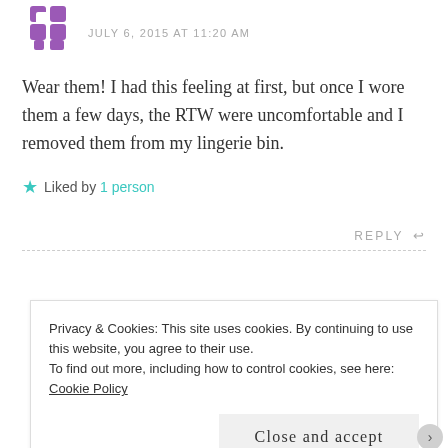[Figure (illustration): Purple pixelated avatar icon in top left]
JULY 6, 2015 AT 11:20 AM
Wear them! I had this feeling at first, but once I wore them a few days, the RTW were uncomfortable and I removed them from my lingerie bin.
Liked by 1 person
REPLY
[Figure (illustration): Dark red diamond pattern avatar for colormusing]
colormusing says:
Privacy & Cookies: This site uses cookies. By continuing to use this website, you agree to their use. To find out more, including how to control cookies, see here: Cookie Policy
Close and accept